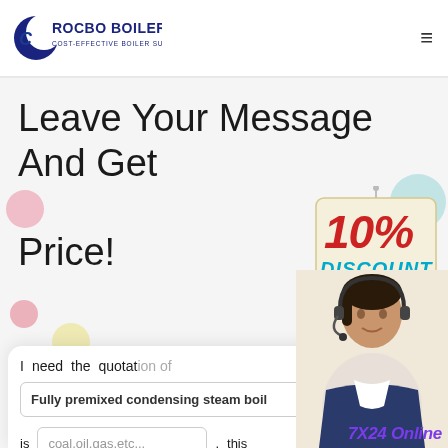[Figure (logo): Rocbo Boiler logo with crescent and text 'COST-EFFECTIVE BOILER SUPPLIER']
Leave Your Message And Get Price!
[Figure (illustration): 10% DISCOUNT badge hanging sign]
[Figure (photo): Customer service representative woman with headset]
I need the quotation of
Fully premixed condensing steam boil
is coal,oil,gas,etc... , this
eg:5ton/h or 5mw
7X24 Online